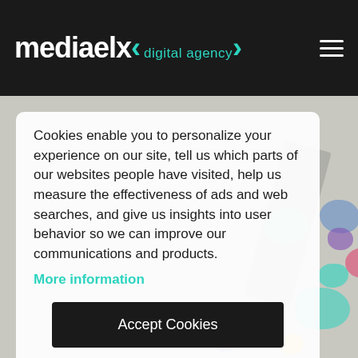[Figure (logo): mediaelx digital agency logo in white and teal on dark background, with hamburger menu icon]
Cookies enable you to personalize your experience on our site, tell us which parts of our websites people have visited, help us measure the effectiveness of ads and web searches, and give us insights into user behavior so we can improve our communications and products.
More information
Accept Cookies
Customise Cookies